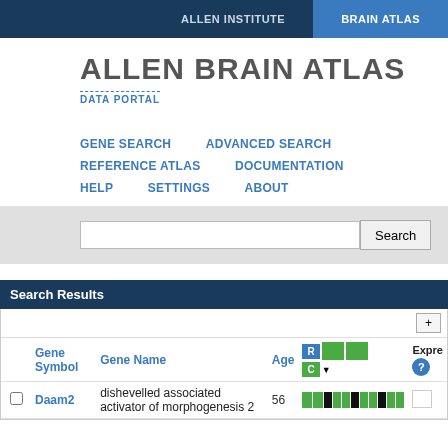ALLEN INSTITUTE   BRAIN ATLAS
ALLEN BRAIN ATLAS
DATA PORTAL
GENE SEARCH   ADVANCED SEARCH   REFERENCE ATLAS   DOCUMENTATION   HELP   SETTINGS   ABOUT
Search [input field] Search [button]
Search Results
|  | Gene Symbol | Gene Name | Age | R [expression blocks] | Expre ? |
| --- | --- | --- | --- | --- | --- |
| ☐ | Daam2 | dishevelled associated activator of morphogenesis 2 | 56 | [expression bar] |  |